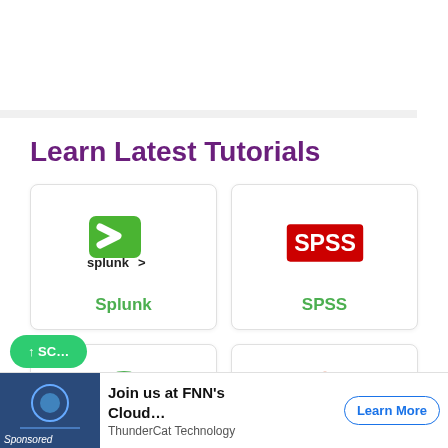Learn Latest Tutorials
[Figure (logo): Splunk logo - green arrow-like chevron icon with 'splunk>' text below]
Splunk
[Figure (logo): SPSS logo - red rectangle with white 'SPSS' text]
SPSS
[Figure (logo): Swagger logo - green circle with curly braces {...} icon and 'Swagger' text below]
Swagger
[Figure (logo): Transact-SQL logo - red/orange net-like basketball icon with 'Transact-SQL' text below]
Transact-SQL
Join us at FNN's Cloud... ThunderCat Technology
Learn More